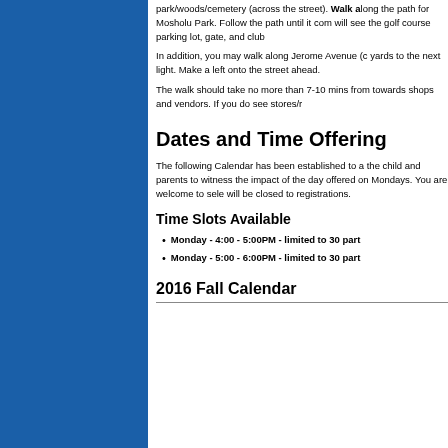park/woods/cemetery (across the street). Walk along the path for Mosholu Park. Follow the path until it comes to a will see the golf course parking lot, gate, and club
In addition, you may walk along Jerome Avenue (continuing yards to the next light. Make a left onto the street ahead.
The walk should take no more than 7-10 mins from towards shops and vendors. If you do see stores/
Dates and Time Offerings
The following Calendar has been established to allow the child and parents to witness the impact of the day offered on Mondays. You are welcome to select will be closed to registrations.
Time Slots Available
Monday - 4:00 - 5:00PM - limited to 30 participants
Monday - 5:00 - 6:00PM - limited to 30 participants
2016 Fall Calendar